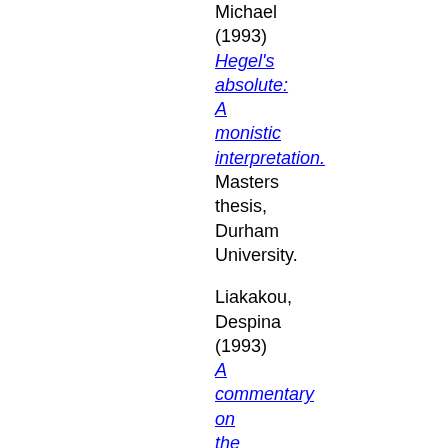Michael (1993) Hegel's absolute: A monistic interpretation. Masters thesis, Durham University.
Liakakou, Despina (1993) A commentary on the final scene of